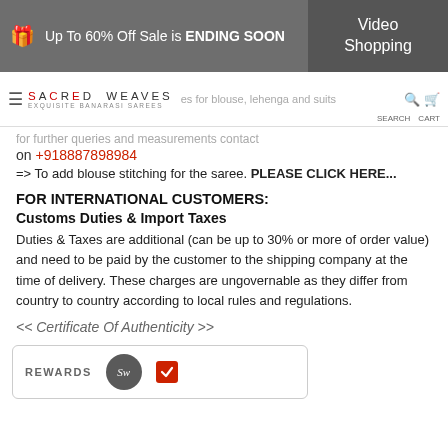Up To 60% Off Sale is ENDING SOON | Video Shopping
SACRED WEAVES — EXQUISITE BANARASI SAREES — sizes for blouse, lehenga and suits for further queries and measurements contact on +918887898984
=> To add blouse stitching for the saree. PLEASE CLICK HERE...
FOR INTERNATIONAL CUSTOMERS:
Customs Duties & Import Taxes
Duties & Taxes are additional (can be up to 30% or more of order value) and need to be paid by the customer to the shipping company at the time of delivery. These charges are ungovernable as they differ from country to country according to local rules and regulations.
<< Certificate Of Authenticity >>
REWARDS